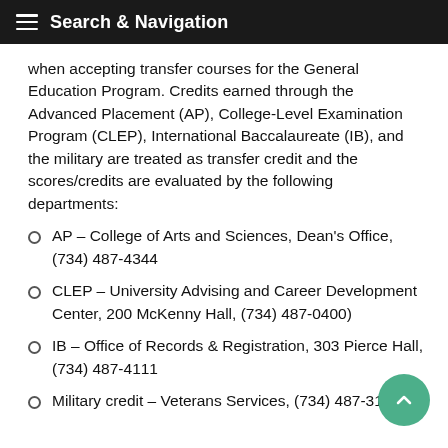Search & Navigation
when accepting transfer courses for the General Education Program. Credits earned through the Advanced Placement (AP), College-Level Examination Program (CLEP), International Baccalaureate (IB), and the military are treated as transfer credit and the scores/credits are evaluated by the following departments:
AP – College of Arts and Sciences, Dean's Office, (734) 487-4344
CLEP – University Advising and Career Development Center, 200 McKenny Hall, (734) 487-0400
IB – Office of Records & Registration, 303 Pierce Hall, (734) 487-4111
Military credit – Veterans Services, (734) 487-3119